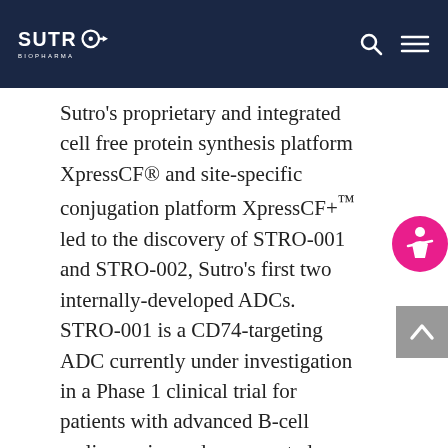SUTRO BIOPHARMA
Sutro's proprietary and integrated cell free protein synthesis platform XpressCF® and site-specific conjugation platform XpressCF+™ led to the discovery of STRO-001 and STRO-002, Sutro's first two internally-developed ADCs. STRO-001 is a CD74-targeting ADC currently under investigation in a Phase 1 clinical trial for patients with advanced B-cell malignancies and was granted Orphan Drug Designation by the FDA for multiple myeloma. STRO-002, a folate receptor alpha (FolRα)-targeting ADC, is currently being investigated in a Phase 1 clinical trial for patients with